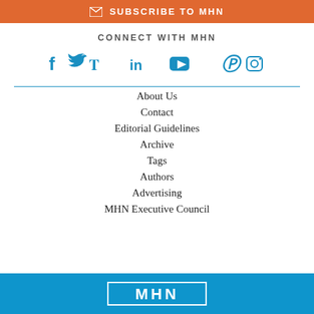SUBSCRIBE TO MHN
CONNECT WITH MHN
[Figure (infographic): Social media icons row: Facebook, Twitter, LinkedIn, YouTube, Pinterest, Instagram — all in blue]
About Us
Contact
Editorial Guidelines
Archive
Tags
Authors
Advertising
MHN Executive Council
[Figure (logo): MHN logo in white on blue background]